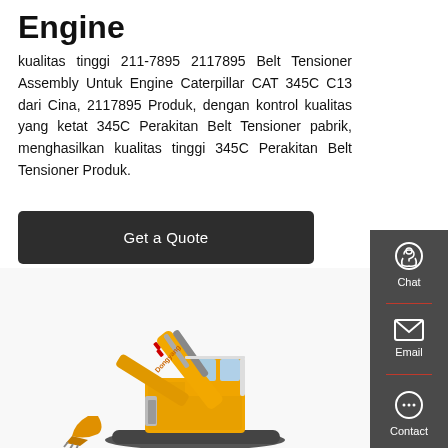Engine
kualitas tinggi 211-7895 2117895 Belt Tensioner Assembly Untuk Engine Caterpillar CAT 345C C13 dari Cina, 2117895 Produk, dengan kontrol kualitas yang ketat 345C Perakitan Belt Tensioner pabrik, menghasilkan kualitas tinggi 345C Perakitan Belt Tensioner Produk.
[Figure (other): Get a Quote button - dark rounded rectangle button]
[Figure (photo): Yellow excavator construction machine (Doosan/Dongyang brand) photographed from side/front angle showing arm, cab, and bucket]
[Figure (infographic): Dark gray sidebar with Chat (headset icon), Email (envelope icon), and Contact (speech bubble icon) buttons separated by red dividers]